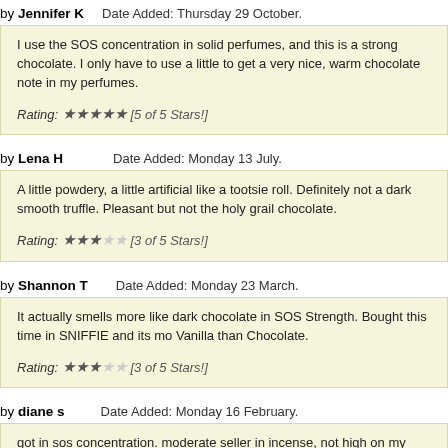by Jennifer K   Date Added: Thursday 29 October.
I use the SOS concentration in solid perfumes, and this is a strong chocolate. I only have to use a little to get a very nice, warm chocolate note in my perfumes.
Rating: ★★★★★ [5 of 5 Stars!]
by Lena H   Date Added: Monday 13 July.
A little powdery, a little artificial like a tootsie roll. Definitely not a dark smooth truffle. Pleasant but not the holy grail chocolate.
Rating: ★★★☆☆ [3 of 5 Stars!]
by Shannon T   Date Added: Monday 23 March.
It actually smells more like dark chocolate in SOS Strength. Bought this time in SNIFFIE and its more Vanilla than Chocolate.
Rating: ★★★☆☆ [3 of 5 Stars!]
by diane s   Date Added: Monday 16 February.
got in sos concentration. moderate seller in incense, not high on my reorder list. on the plus side, it is the most intense chocolate scented oil i have found